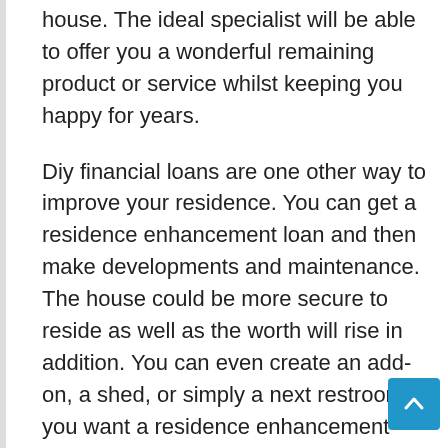house. The ideal specialist will be able to offer you a wonderful remaining product or service whilst keeping you happy for years.
Diy financial loans are one other way to improve your residence. You can get a residence enhancement loan and then make developments and maintenance. The house could be more secure to reside as well as the worth will rise in addition. You can even create an add-on, a shed, or simply a next restroom. If you want a residence enhancement personal loan, be sure you think about your credit track record when selecting the borrowed funds. You can be happy you did.
Over the last yr, home improvement lending options are becoming more popular than